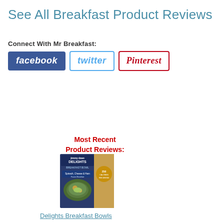See All Breakfast Product Reviews
Connect With Mr Breakfast:
[Figure (logo): Facebook logo button (blue background, white italic text 'facebook')]
[Figure (logo): Twitter logo button (white background, blue border, blue italic text 'twitter')]
[Figure (logo): Pinterest logo button (white background, red border, red italic text 'Pinterest')]
Most Recent Product Reviews:
[Figure (photo): Jimmy Dean Delights Breakfast Bowls product packaging image]
Delights Breakfast Bowls
[Figure (photo): Twinkies product packaging image]